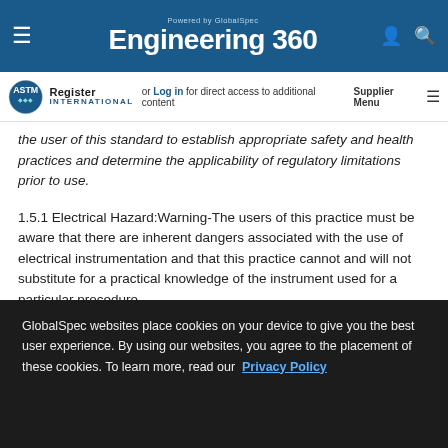Powered by GlobalSpec Engineering 360
Register or Log in for direct access to additional content | Supplier Menu | ASTM International
the user of this standard to establish appropriate safety and health practices and determine the applicability of regulatory limitations prior to use.
1.5.1 Electrical Hazard:Warning-The users of this practice must be aware that there are inherent dangers associated with the use of electrical instrumentation and that this practice cannot and will not substitute for a practical knowledge of the instrument used for a particular procedure.
1.5.2 Radio Frequency:Warning-Persons with pacemakers may be affected by the radio frequency.
GlobalSpec websites place cookies on your device to give you the best user experience. By using our websites, you agree to the placement of these cookies. To learn more, read our Privacy Policy